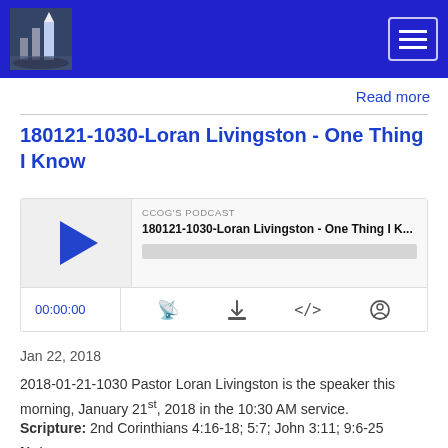Navigation bar with logo and hamburger menu
Read more
180121-1030-Loran Livingston - One Thing I Know
[Figure (other): Podcast player widget for '180121-1030-Loran Livingston - One Thing I K...' by CCOG'S PODCAST, showing play button, progress bar, time 00:00:00, and control icons for RSS, download, embed code, and settings]
Jan 22, 2018
2018-01-21-1030 Pastor Loran Livingston is the speaker this morning, January 21st, 2018 in the 10:30 AM service.
Scripture: 2nd Corinthians 4:16-18; 5:7; John 3:11; 9:6-25
Notes:
- We should not have our eye on things of this world but on